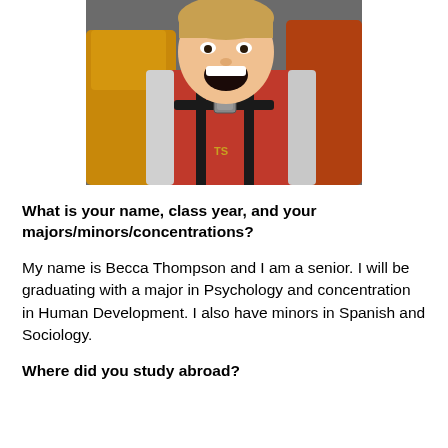[Figure (photo): A young woman in a red and white skydiving jumpsuit with harness, mouth open in excitement/screaming, photographed from close up. Another person in yellow is visible behind her.]
What is your name, class year, and your majors/minors/concentrations?
My name is Becca Thompson and I am a senior. I will be graduating with a major in Psychology and concentration in Human Development. I also have minors in Spanish and Sociology.
Where did you study abroad?